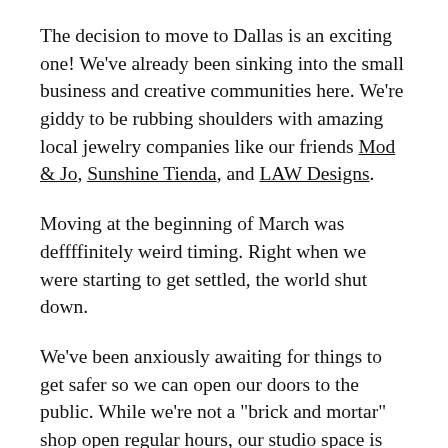The decision to move to Dallas is an exciting one! We've already been sinking into the small business and creative communities here. We're giddy to be rubbing shoulders with amazing local jewelry companies like our friends Mod & Jo, Sunshine Tienda, and LAW Designs.
Moving at the beginning of March was deffffinitely weird timing. Right when we were starting to get settled, the world shut down.
We've been anxiously awaiting for things to get safer so we can open our doors to the public. While we're not a "brick and mortar" shop open regular hours, our studio space is open to shop by appointment.
We're happy to announce our Dallas studio is *officially* open for For Good Bracelet welding